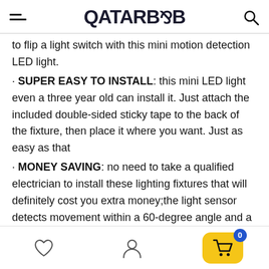QATARB2B
to flip a light switch with this mini motion detection LED light.
· SUPER EASY TO INSTALL: this mini LED light even a three year old can install it. Just attach the included double-sided sticky tape to the back of the fixture, then place it where you want. Just as easy as that
· MONEY SAVING: no need to take a qualified electrician to install these lighting fixtures that will definitely cost you extra money;the light sensor detects movement within a 60-degree angle and a 3 meter range, the light switches on and stays illuminated until the sensor detects no motion for around 8 seconds.
· FIT YOUR ROOM:small size of the fixture makes it fit
Heart icon | User icon | Cart (0)